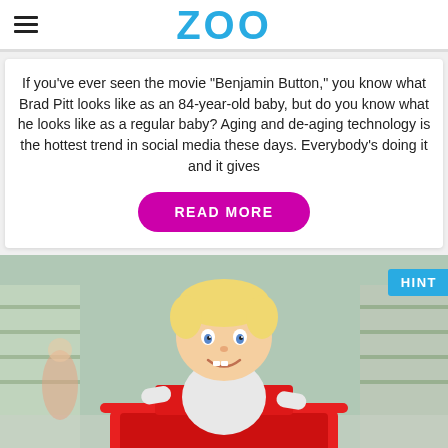ZOO
If you've ever seen the movie "Benjamin Button," you know what Brad Pitt looks like as an 84-year-old baby, but do you know what he looks like as a regular baby? Aging and de-aging technology is the hottest trend in social media these days. Everybody's doing it and it gives
READ MORE
[Figure (photo): A smiling blond toddler sitting in a red shopping cart inside a grocery store, with blurred store shelves and shoppers in the background. A 'HINT' badge appears in the top-right corner.]